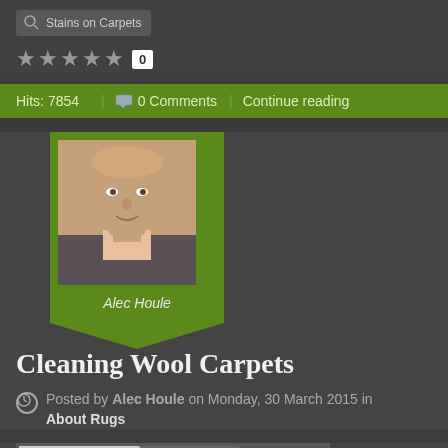Stains on Carpets
★★★★★ 0
Hits: 7854 | 0 Comments | Continue reading
[Figure (photo): Author photo of Alec Houle - headshot of bald/balding man in suit]
Alec Houle
Cleaning Wool Carpets
Posted by Alec Houle on Monday, 30 March 2015 in About Rugs
[Figure (photo): Close-up photo of wool carpet texture with grey and cream tones on wooden floor]